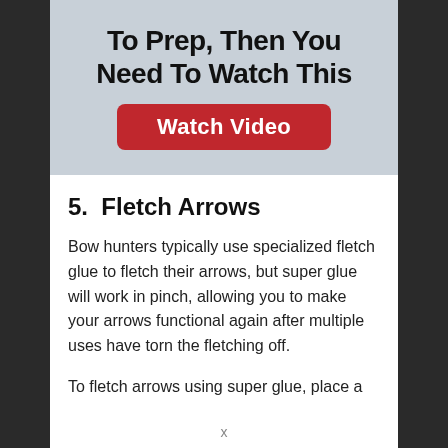[Figure (screenshot): Light blue/grey banner with bold black text 'To Prep, Then You Need To Watch This' and a red rounded rectangle button labeled 'Watch Video']
5.  Fletch Arrows
Bow hunters typically use specialized fletch glue to fletch their arrows, but super glue will work in pinch, allowing you to make your arrows functional again after multiple uses have torn the fletching off.
To fletch arrows using super glue, place a